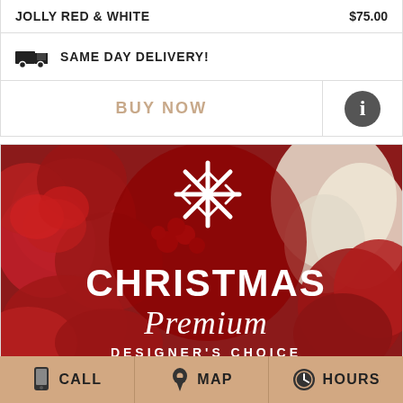JOLLY RED & WHITE   $75.00
SAME DAY DELIVERY!
BUY NOW
[Figure (photo): Christmas Premium Designer's Choice floral arrangement with red roses and berries, overlaid with a semi-transparent red circle containing a snowflake icon and the text CHRISTMAS Premium DESIGNER'S CHOICE]
CALL   MAP   HOURS